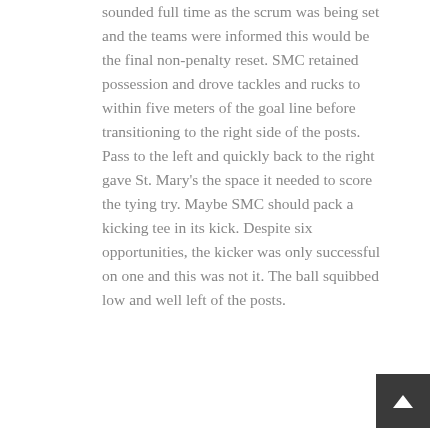sounded full time as the scrum was being set and the teams were informed this would be the final non-penalty reset. SMC retained possession and drove tackles and rucks to within five meters of the goal line before transitioning to the right side of the posts. Pass to the left and quickly back to the right gave St. Mary's the space it needed to score the tying try. Maybe SMC should pack a kicking tee in its kick. Despite six opportunities, the kicker was only successful on one and this was not it. The ball squibbed low and well left of the posts.